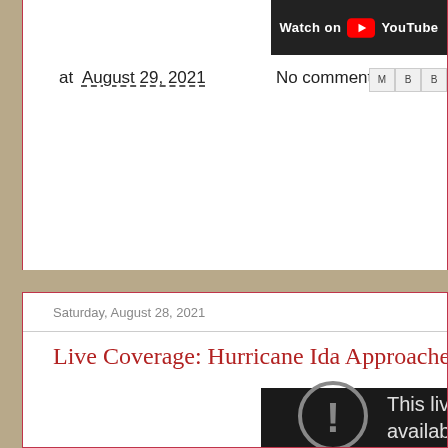[Figure (screenshot): YouTube video thumbnail with 'Watch on YouTube' button on dark background]
at August 29, 2021   No comments:
Saturday, August 28, 2021
Live Coverage: Hurricane Ida Approaches Loui…
[Figure (screenshot): Embedded video player showing error: 'This live str… available.']